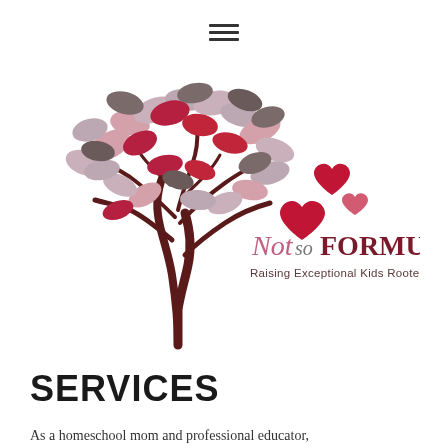[Figure (logo): Not So Formulaic logo — a decorative tree with pink, red, and gray leaves and red heart shapes floating beside it. Text reads 'Not so FORMULaiC' with subtitle 'Raising Exceptional Kids Rooted in Extraordinary Love']
SERVICES
As a homeschool mom and professional educator,